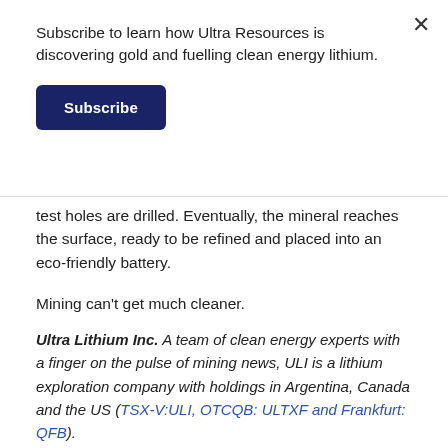Subscribe to learn how Ultra Resources is discovering gold and fuelling clean energy lithium.
Subscribe
test holes are drilled. Eventually, the mineral reaches the surface, ready to be refined and placed into an eco-friendly battery.
Mining can't get much cleaner.
Ultra Lithium Inc. A team of clean energy experts with a finger on the pulse of mining news, ULI is a lithium exploration company with holdings in Argentina, Canada and the US (TSX-V:ULI, OTCQB: ULTXF and Frankfurt: QFB).